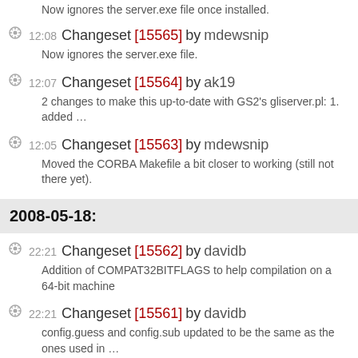Now ignores the server.exe file once installed.
12:08 Changeset [15565] by mdewsnip — Now ignores the server.exe file.
12:07 Changeset [15564] by ak19 — 2 changes to make this up-to-date with GS2's gliserver.pl: 1. added …
12:05 Changeset [15563] by mdewsnip — Moved the CORBA Makefile a bit closer to working (still not there yet).
2008-05-18:
22:21 Changeset [15562] by davidb — Addition of COMPAT32BITFLAGS to help compilation on a 64-bit machine
22:21 Changeset [15561] by davidb — config.guess and config.sub updated to be the same as the ones used in …
22:19 Changeset [15560] by davidb